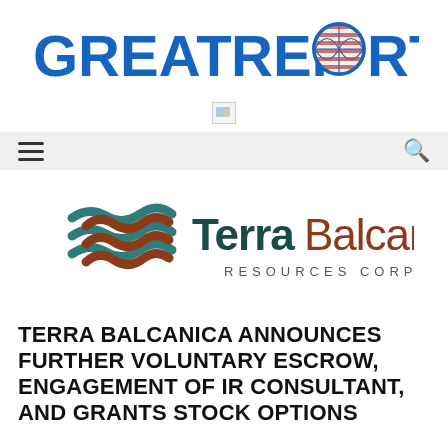[Figure (logo): GreatReporter logo — bold blue text with a globe icon replacing the O in REPORTER]
[Figure (photo): Small broken/placeholder image thumbnail]
[Figure (logo): Terra Balcanica Resources Corp. logo with stylized teal and brown wave/flag icon]
TERRA BALCANICA ANNOUNCES FURTHER VOLUNTARY ESCROW, ENGAGEMENT OF IR CONSULTANT, AND GRANTS STOCK OPTIONS